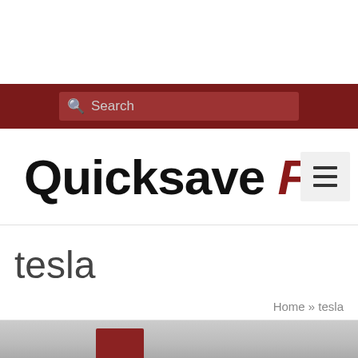Search
Quicksave F5
tesla
Home » tesla
[Figure (photo): Bottom edge of a photo showing a red car in a wintry/outdoor setting, partially visible]